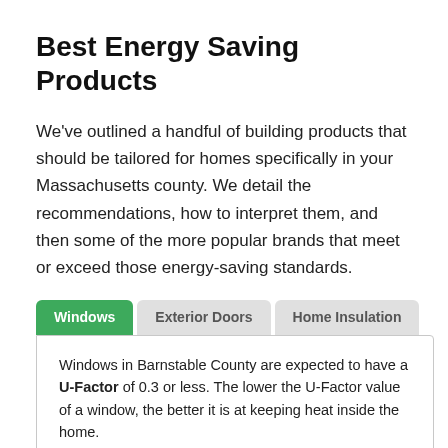Best Energy Saving Products
We've outlined a handful of building products that should be tailored for homes specifically in your Massachusetts county. We detail the recommendations, how to interpret them, and then some of the more popular brands that meet or exceed those energy-saving standards.
Windows in Barnstable County are expected to have a U-Factor of 0.3 or less. The lower the U-Factor value of a window, the better it is at keeping heat inside the home.